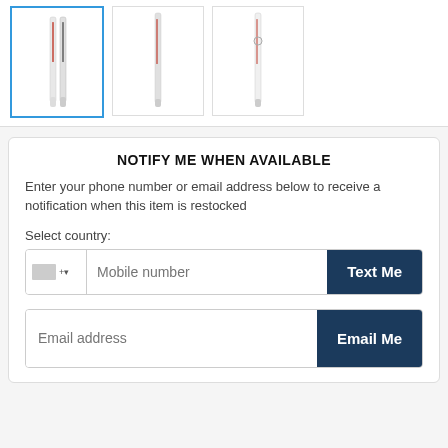[Figure (photo): Three baseball bat thumbnail images: first selected with blue border, second and third with gray borders]
NOTIFY ME WHEN AVAILABLE
Enter your phone number or email address below to receive a notification when this item is restocked
Select country:
Mobile number
Text Me
Email address
Email Me